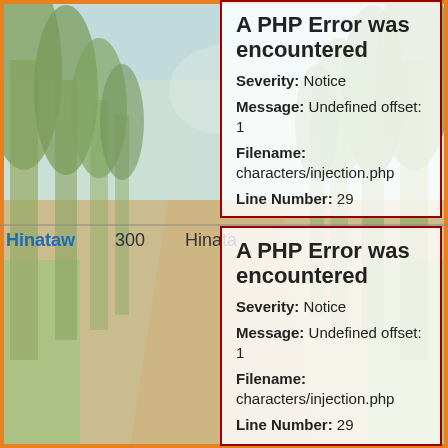[Figure (illustration): Forest path background illustration with tall green trees lining a dirt road, blue sky visible through canopy.]
A PHP Error was encountered

Severity: Notice

Message: Undefined offset: 1

Filename: characters/injection.php

Line Number: 29
Hinataw   300   Hinata
A PHP Error was encountered

Severity: Notice

Message: Undefined offset: 1

Filename: characters/injection.php

Line Number: 29